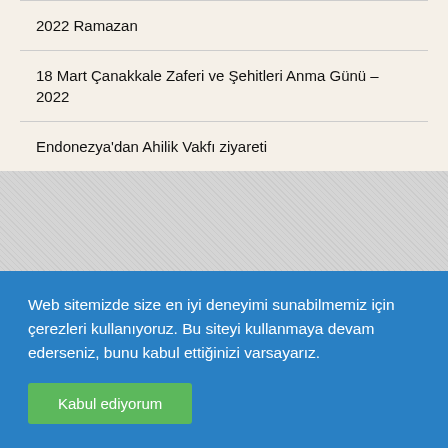2022 Ramazan
18 Mart Çanakkale Zaferi ve Şehitleri Anma Günü – 2022
Endonezya'dan Ahilik Vakfı ziyareti
Web sitemizde size en iyi deneyimi sunabilmemiz için çerezleri kullanıyoruz. Bu siteyi kullanmaya devam ederseniz, bunu kabul ettiğinizi varsayarız.
Kabul ediyorum